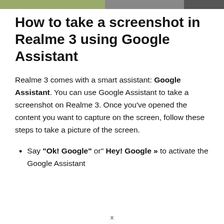How to take a screenshot in Realme 3 using Google Assistant
Realme 3 comes with a smart assistant: Google Assistant. You can use Google Assistant to take a screenshot on Realme 3. Once you’ve opened the content you want to capture on the screen, follow these steps to take a picture of the screen.
Say “Ok! Google” or” Hey! Google » to activate the Google Assistant